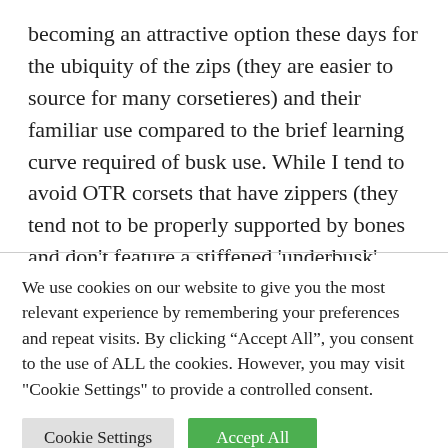becoming an attractive option these days for the ubiquity of the zips (they are easier to source for many corsetieres) and their familiar use compared to the brief learning curve required of busk use. While I tend to avoid OTR corsets that have zippers (they tend not to be properly supported by bones and don’t feature a stiffened ‘underbusk’ bone), there are many bespoke corsets made today
We use cookies on our website to give you the most relevant experience by remembering your preferences and repeat visits. By clicking “Accept All”, you consent to the use of ALL the cookies. However, you may visit "Cookie Settings" to provide a controlled consent.